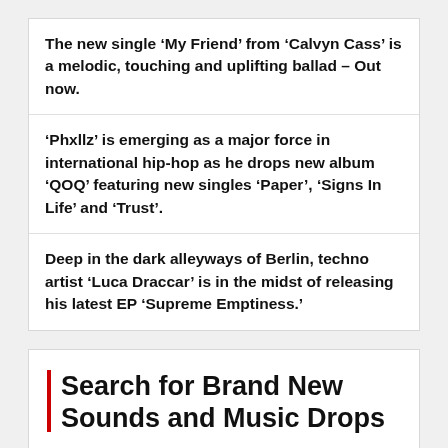The new single ‘My Friend’ from ‘Calvyn Cass’ is a melodic, touching and uplifting ballad – Out now.
‘Phxllz’ is emerging as a major force in international hip-hop as he drops new album ‘QOQ’ featuring new singles ‘Paper’, ‘Signs In Life’ and ‘Trust’.
Deep in the dark alleyways of Berlin, techno artist ‘Luca Draccar’ is in the midst of releasing his latest EP ‘Supreme Emptiness.’
Search for Brand New Sounds and Music Drops